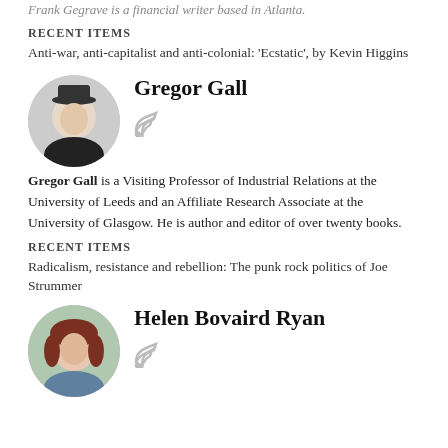Frank Gegrave is a financial writer based in Atlanta.
RECENT ITEMS
Anti-war, anti-capitalist and anti-colonial: 'Ecstatic', by Kevin Higgins
[Figure (photo): Circular portrait photo of Gregor Gall wearing a black hat]
Gregor Gall
Gregor Gall is a Visiting Professor of Industrial Relations at the University of Leeds and an Affiliate Research Associate at the University of Glasgow. He is author and editor of over twenty books.
RECENT ITEMS
Radicalism, resistance and rebellion: The punk rock politics of Joe Strummer
[Figure (photo): Circular portrait photo of Helen Bovaird Ryan]
Helen Bovaird Ryan